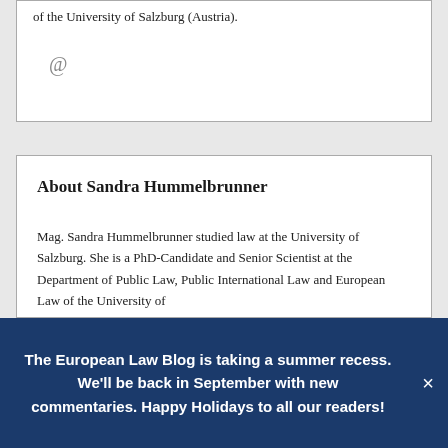of the University of Salzburg (Austria).
@
About Sandra Hummelbrunner
Mag. Sandra Hummelbrunner studied law at the University of Salzburg. She is a PhD-Candidate and Senior Scientist at the Department of Public Law, Public International Law and European Law of the University of
The European Law Blog is taking a summer recess. We'll be back in September with new commentaries. Happy Holidays to all our readers!